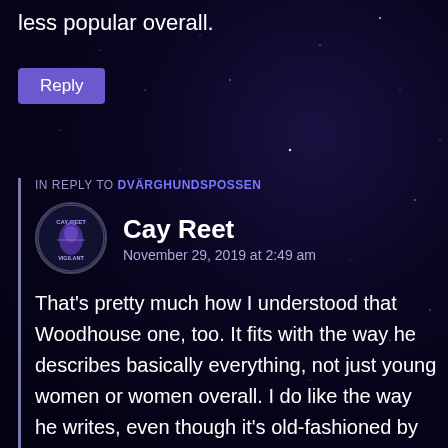less popular overall.
[Figure (other): Reply button, purple/indigo rounded rectangle with white text 'Reply']
IN REPLY TO DVÄRGHUNDSPOSSEN
[Figure (logo): Cay Reet Vigilant circular avatar logo with purple knight figure]
Cay Reet
November 29, 2019 at 2:49 am
That's pretty much how I understood that Woodhouse one, too. It fits with the way he describes basically everything, not just young women or women overall. I do like the way he writes, even though it's old-fashioned by now, of course. I also like it when other authors, like Chris